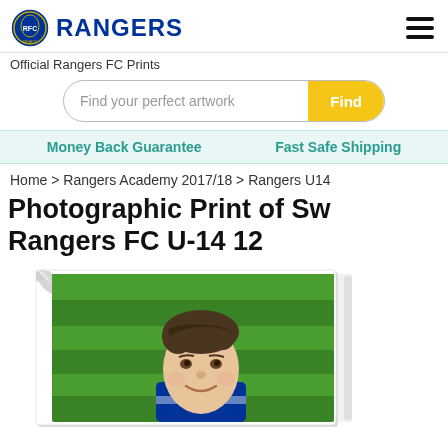[Figure (logo): Rangers FC badge logo (blue circular crest) with RANGERS text in bold blue]
Official Rangers FC Prints
Find your perfect artwork
Money Back Guarantee
Fast Safe Shipping
Home > Rangers Academy 2017/18 > Rangers U14
Photographic Print of Sw Rangers FC U-14 12
[Figure (photo): Product listing photo mockup: a boy wearing Rangers FC blue/white kit against a green grass background, displayed as a print with a curled corner effect]